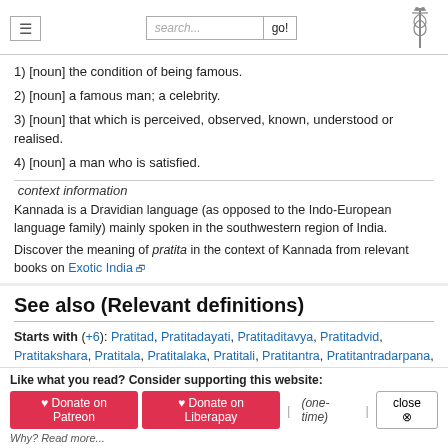search... go! [caduceus logo]
1) [noun] the condition of being famous.
2) [noun] a famous man; a celebrity.
3) [noun] that which is perceived, observed, known, understood or realised.
4) [noun] a man who is satisfied.
context information
Kannada is a Dravidian language (as opposed to the Indo-European language family) mainly spoken in the southwestern region of India.
Discover the meaning of pratita in the context of Kannada from relevant books on Exotic India
See also (Relevant definitions)
Starts with (+6): Pratitad, Pratitadayati, Pratitaditavya, Pratitadvid, Pratitakshara, Pratitala, Pratitalaka, Pratitali, Pratitantra, Pratitantradarpana, Pratitantram, Pratitantrasiddhanta, Pratitanu, Pratitap, Pratitara, Pratitaram, Pratitari, Pratitarkita,
Like what you read? Consider supporting this website:
♥ Donate on Patreon  ♥ Donate on Liberapay  | (one-time) |  close ⊗
Why? Read more...